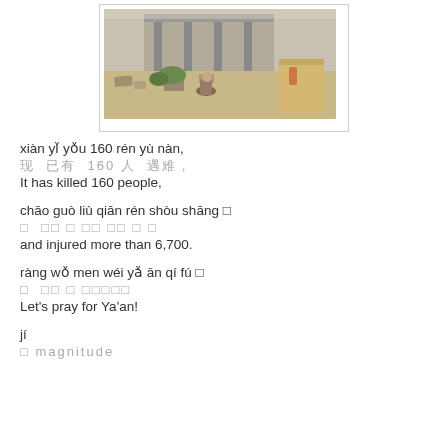[Figure (photo): A person sitting on rubble in front of a damaged building after an earthquake in Ya'an, China]
xiàn yǐ yǒu 160 rén yù nàn,
现 已有 160 人 遇难，
It has killed 160 people,
chāo guò liù qiān rén shòu shāng□
□ □□ □ □□ □□ □ □
and injured more than 6,700.
ràng wǒ men wéi yǎ ān qí fú□
□ □□ □ □□□□□
Let's pray for Ya'an!
jí
□ magnitude